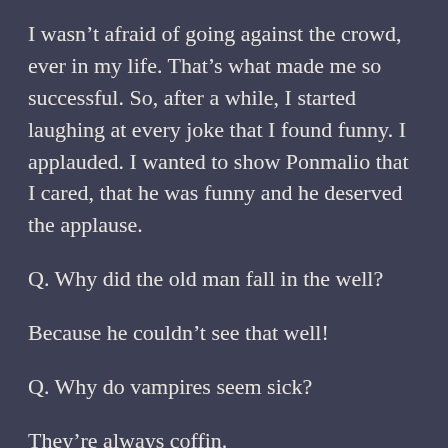I wasn't afraid of going against the crowd, ever in my life. That's what made me so successful. So, after a while, I started laughing at every joke that I found funny. I applauded. I wanted to show Ponmalio that I cared, that he was funny and he deserved the applause.
Q. Why did the old man fall in the well?
Because he couldn't see that well!
Q. Why do vampires seem sick?
They're always coffin.
After an hour of these jokes, a night which I enjoyed, Ponmalio sat down on the stage and cried. He started sobbing quietly at first, but then started crying. Then he laughed, a sad laughter that seemed to be filled with